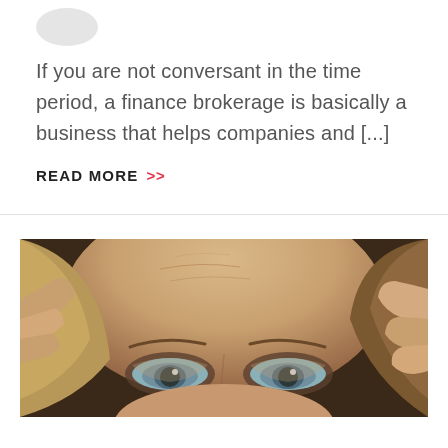[Figure (photo): Partial circular avatar/profile image placeholder at top left, shown in grey]
If you are not conversant in the time period, a finance brokerage is basically a business that helps companies and [...]
READ MORE >>
[Figure (photo): Close-up photograph of a woman's face, showing her eyes and forehead, with her hands on either side of her face. She has blue-grey eyes and blonde hair.]